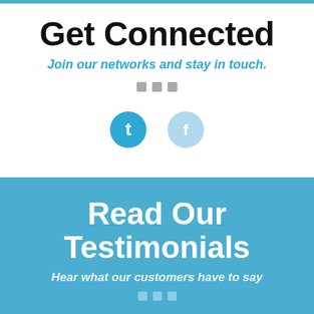Get Connected
Join our networks and stay in touch.
[Figure (infographic): Three small grey square decorative dots]
[Figure (infographic): Twitter circle icon (blue) and Facebook circle icon (light blue) social media icons]
Read Our Testimonials
Hear what our customers have to say
[Figure (infographic): Three small grey-blue square decorative dots]